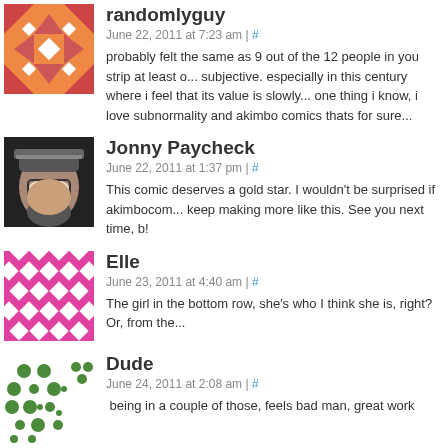randomlyguy
June 22, 2011 at 7:23 am | #
probably felt the same as 9 out of the 12 people in you strip at least o... subjective. especially in this century where i feel that its value is slowly... one thing i know, i love subnormality and akimbo comics thats for sure...
Jonny Paycheck
June 22, 2011 at 1:37 pm | #
This comic deserves a gold star. I wouldn't be surprised if akimbocom... keep making more like this. See you next time, b!
Elle
June 23, 2011 at 4:40 am | #
The girl in the bottom row, she's who I think she is, right? Or, from the...
Dude
June 24, 2011 at 2:08 am | #
being in a couple of those, feels bad man, great work